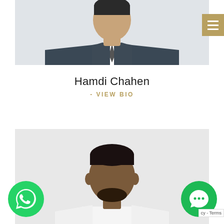[Figure (photo): Partial photo of a person in a dark suit and tie, cropped at the upper torso, against a light background]
[Figure (infographic): Hamburger menu icon with three horizontal lines on a gold/tan background square, positioned at top right]
Hamdi Chahen
- VIEW BIO
[Figure (photo): Photo of a man with short dark hair and beard, wearing a white shirt, against a light gray background, cropped from chest up]
[Figure (infographic): WhatsApp icon - green circle with white phone handset logo]
[Figure (infographic): Chat bubble icon - dark green circle with white chat bubble logo]
cy - Terms